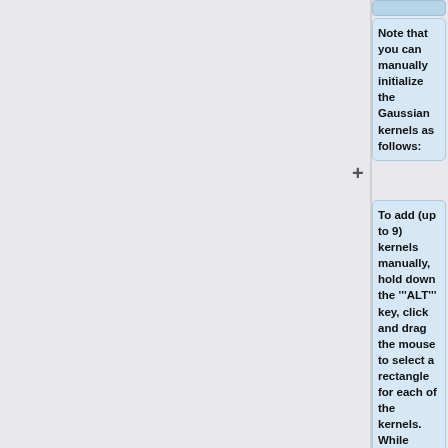Note that you can manually initialize the Gaussian kernels as follows:
To add (up to 9) kernels manually, hold down the '''ALT''' key, click and drag the mouse to select a rectangle for each of the kernels. While holding the '''ALT" key, you can repeat this to add more